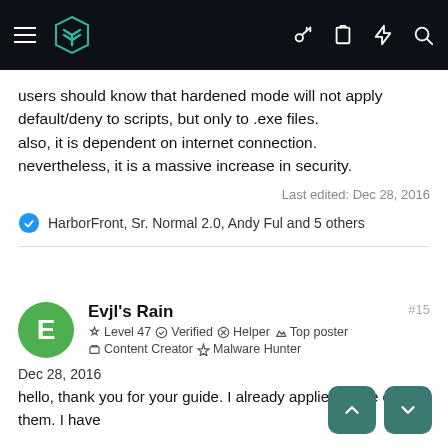MalwareTips navigation bar
users should know that hardened mode will not apply default/deny to scripts, but only to .exe files.
also, it is dependent on internet connection.
nevertheless, it is a massive increase in security.
Last edited: Dec 28, 2016
HarborFront, Sr. Normal 2.0, Andy Ful and 5 others
Evjl's Rain
Level 47  Verified  Helper  Top poster
Content Creator  Malware Hunter
Dec 28, 2016
hello, thank you for your guide. I already applied some of them. I have